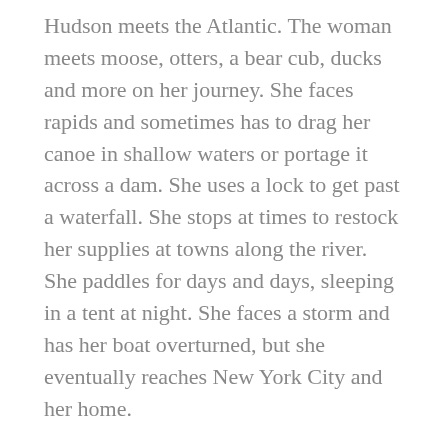Hudson meets the Atlantic. The woman meets moose, otters, a bear cub, ducks and more on her journey. She faces rapids and sometimes has to drag her canoe in shallow waters or portage it across a dam. She uses a lock to get past a waterfall. She stops at times to restock her supplies at towns along the river. She paddles for days and days, sleeping in a tent at night. She faces a storm and has her boat overturned, but she eventually reaches New York City and her home.
There is something so invigorating and inspiring about this glimpse of someone making a journey of a lifetime. At the same time, this is a quiet book, one that inspires thinking, drawing and taking time for one’s self. It’s a lovely balance of a book, and thanks to Cooper’s unique style it is told in a way that honors the woman’s courage and skill, and yet kept it all in an approachable and